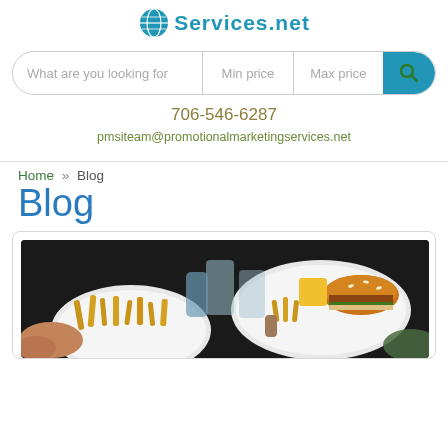Services.net
[Figure (infographic): Search bar with fields: What are you looking for, Min price, Max price, and a blue search button with magnifying glass icon]
706-546-6287
pmsiteam@promotionalmarketingservices.net
Home » Blog
Blog
[Figure (photo): Overhead view of a restaurant table with plates of french fries, a burger, glasses of water, and people's hands reaching for food]